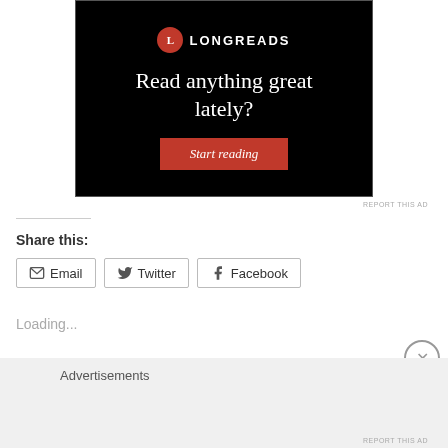[Figure (advertisement): Longreads advertisement banner with black background, logo, headline 'Read anything great lately?' and red 'Start reading' button]
REPORT THIS AD
Share this:
Email   Twitter   Facebook
Loading...
Advertisements
REPORT THIS AD